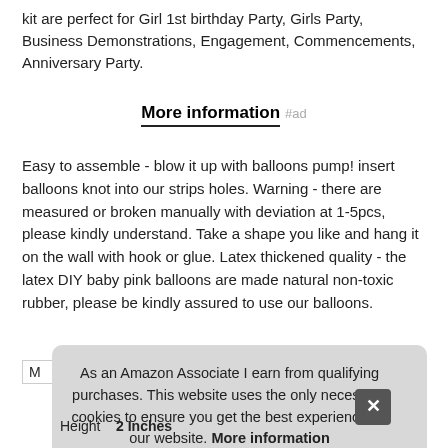kit are perfect for Girl 1st birthday Party, Girls Party, Business Demonstrations, Engagement, Commencements, Anniversary Party.
More information #ad
Easy to assemble - blow it up with balloons pump! insert balloons knot into our strips holes. Warning - there are measured or broken manually with deviation at 1-5pcs, please kindly understand. Take a shape you like and hang it on the wall with hook or glue. Latex thickened quality - the latex DIY baby pink balloons are made natural non-toxic rubber, please be kindly assured to use our balloons.
As an Amazon Associate I earn from qualifying purchases. This website uses the only necessary cookies to ensure you get the best experience on our website. More information
Height | 2 Inches